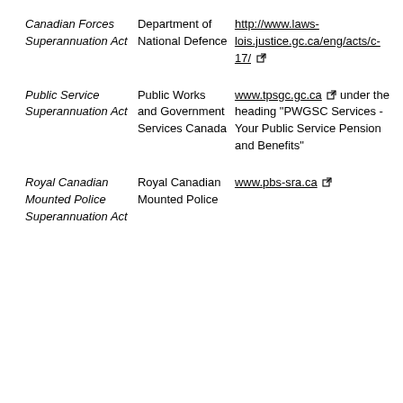| Act | Department | Link |
| --- | --- | --- |
| Canadian Forces Superannuation Act | Department of National Defence | http://www.laws-lois.justice.gc.ca/eng/acts/c-17/ |
| Public Service Superannuation Act | Public Works and Government Services Canada | www.tpsgc.gc.ca under the heading "PWGSC Services - Your Public Service Pension and Benefits" |
| Royal Canadian Mounted Police Superannuation Act | Royal Canadian Mounted Police | www.pbs-sra.ca |